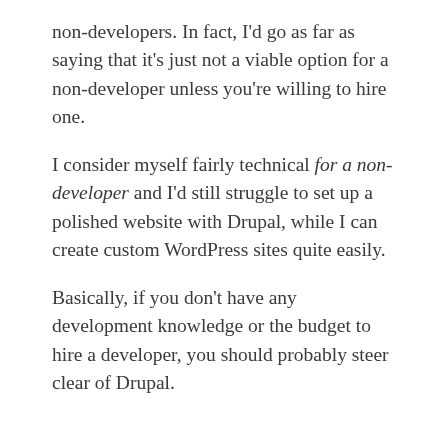non-developers. In fact, I'd go as far as saying that it's just not a viable option for a non-developer unless you're willing to hire one.
I consider myself fairly technical for a non-developer and I'd still struggle to set up a polished website with Drupal, while I can create custom WordPress sites quite easily.
Basically, if you don't have any development knowledge or the budget to hire a developer, you should probably steer clear of Drupal.